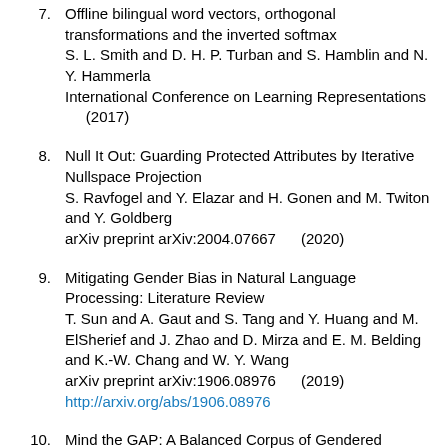7. Offline bilingual word vectors, orthogonal transformations and the inverted softmax S. L. Smith and D. H. P. Turban and S. Hamblin and N. Y. Hammerla International Conference on Learning Representations (2017)
8. Null It Out: Guarding Protected Attributes by Iterative Nullspace Projection S. Ravfogel and Y. Elazar and H. Gonen and M. Twiton and Y. Goldberg arXiv preprint arXiv:2004.07667 (2020)
9. Mitigating Gender Bias in Natural Language Processing: Literature Review T. Sun and A. Gaut and S. Tang and Y. Huang and M. ElSherief and J. Zhao and D. Mirza and E. M. Belding and K.-W. Chang and W. Y. Wang arXiv preprint arXiv:1906.08976 (2019) http://arxiv.org/abs/1906.08976
10. Mind the GAP: A Balanced Corpus of Gendered Ambiguous Pronouns K. Webster and M. Recasens and V.